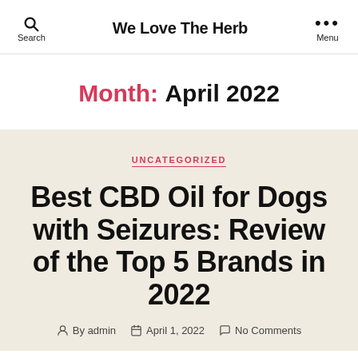We Love The Herb
Month: April 2022
UNCATEGORIZED
Best CBD Oil for Dogs with Seizures: Review of the Top 5 Brands in 2022
By admin  April 1, 2022  No Comments